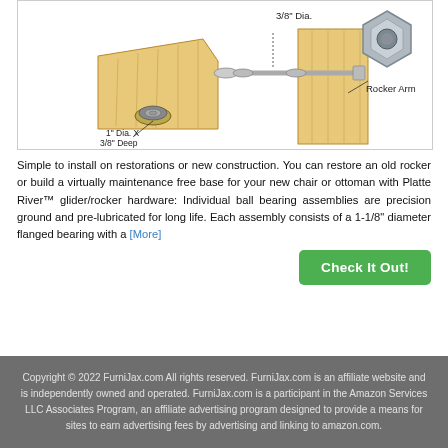[Figure (illustration): Engineering/product illustration of a rocker glider hardware assembly showing a wooden rocker arm with bearing holes (1 inch Dia. X 3/8 inch Deep), a 3/8 inch Dia. bolt/shaft, washers, and a hex nut. Labels point to 'Rocker Arm', '1" Dia. X 3/8" Deep', and '3/8" Dia.']
Simple to install on restorations or new construction. You can restore an old rocker or build a virtually maintenance free base for your new chair or ottoman with Platte River™ glider/rocker hardware: Individual ball bearing assemblies are precision ground and pre-lubricated for long life. Each assembly consists of a 1-1/8" diameter flanged bearing with a [More]
Check It Out!
Copyright © 2022 FurniJax.com All rights reserved. FurniJax.com is an affiliate website and is independently owned and operated. FurniJax.com is a participant in the Amazon Services LLC Associates Program, an affiliate advertising program designed to provide a means for sites to earn advertising fees by advertising and linking to amazon.com.